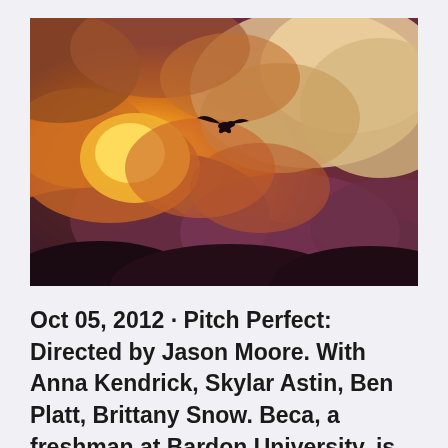[Figure (photo): A dramatic sky photo with warm orange and purple clouds at sunset/stormy weather, with a single bird silhouetted in flight against the bright clouds.]
Oct 05, 2012 · Pitch Perfect: Directed by Jason Moore. With Anna Kendrick, Skylar Astin, Ben Platt, Brittany Snow. Beca, a freshman at Bardon University, is cajoled